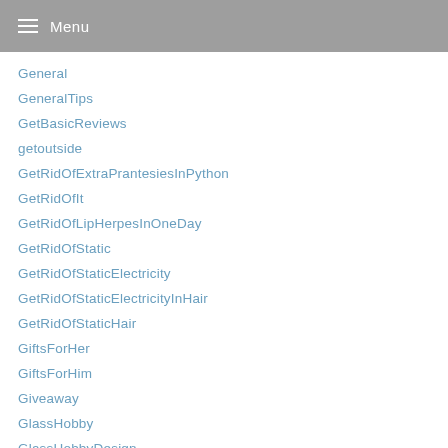Menu
General
GeneralTips
GetBasicReviews
getoutside
GetRidOfExtraPrantesiesInPython
GetRidOfIt
GetRidOfLipHerpesInOneDay
GetRidOfStatic
GetRidOfStaticElectricity
GetRidOfStaticElectricityInHair
GetRidOfStaticHair
GiftsForHer
GiftsForHim
Giveaway
GlassHobby
GlassHobbyDesign
glassjar